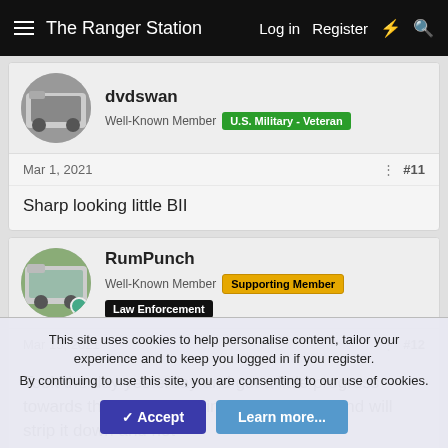The Ranger Station  Log in  Register
dvdswan
Well-Known Member  U.S. Military - Veteran
Mar 1, 2021  #11
Sharp looking little BII
RumPunch
Well-Known Member  Supporting Member  Law Enforcement
Mar 15, 2021  #12
Took the day yesterday and got a little progress towards the project. Engines out on the stand will strip it down and hot
This site uses cookies to help personalise content, tailor your experience and to keep you logged in if you register.
By continuing to use this site, you are consenting to our use of cookies.